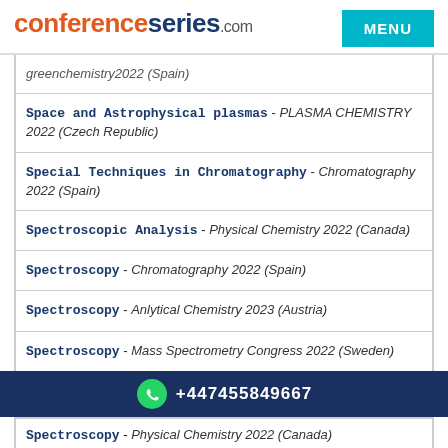conferenceseries.com  MENU
greenchemistry2022 (Spain)
Space and Astrophysical plasmas - PLASMA CHEMISTRY 2022 (Czech Republic)
Special Techniques in Chromatography - Chromatography 2022 (Spain)
Spectroscopic Analysis - Physical Chemistry 2022 (Canada)
Spectroscopy - Chromatography 2022 (Spain)
Spectroscopy - Anlytical Chemistry 2023 (Austria)
Spectroscopy - Mass Spectrometry Congress 2022 (Sweden)
+447455849667
Spectroscopy - Physical Chemistry 2022 (Canada)